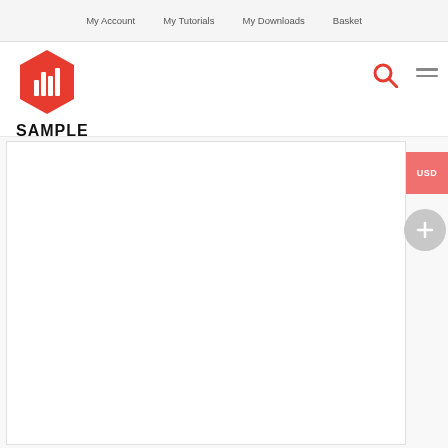My Account  My Tutorials  My Downloads  Basket
[Figure (logo): Sample Craze logo: red hexagon with white bar chart icon, text SAMPLE CRAZE below]
[Figure (other): Search icon (magnifying glass, red) and hamburger menu icon (three horizontal lines, gray)]
[Figure (other): USD currency button (salmon/coral pink rectangle) and plus circle button (gray circle with + symbol)]
[Figure (other): White content card area with border]